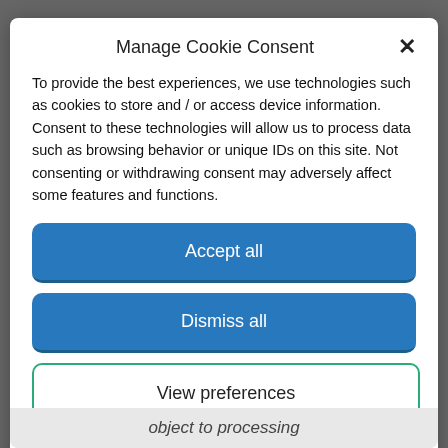Manage Cookie Consent
To provide the best experiences, we use technologies such as cookies to store and / or access device information. Consent to these technologies will allow us to process data such as browsing behavior or unique IDs on this site. Not consenting or withdrawing consent may adversely affect some features and functions.
Accept all
Dismiss all
View preferences
Cookie Policy   Privacy Policy
object to processing